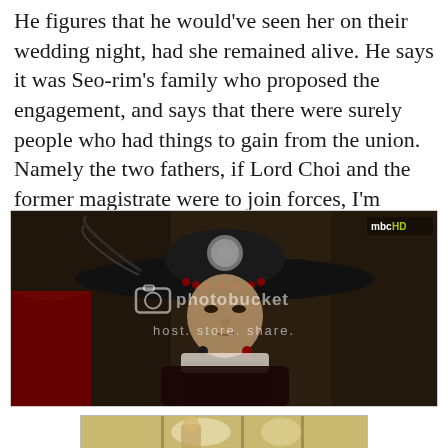He figures that he would've seen her on their wedding night, had she remained alive. He says it was Seo-rim's family who proposed the engagement, and says that there were surely people who had things to gain from the union. Namely the two fathers, if Lord Choi and the former magistrate were to join forces, I'm guessing.
[Figure (photo): A man in traditional Korean historical drama costume wearing a wide black gat (hat) with beaded decoration and a circular ornament, reading a book. The scene is dark-toned. The photo has a photobucket watermark and an MBCHD logo in the upper right.]
[Figure (photo): Partial view of a second screenshot from the Korean drama, showing a bright indoor scene, cropped at the bottom of the page.]